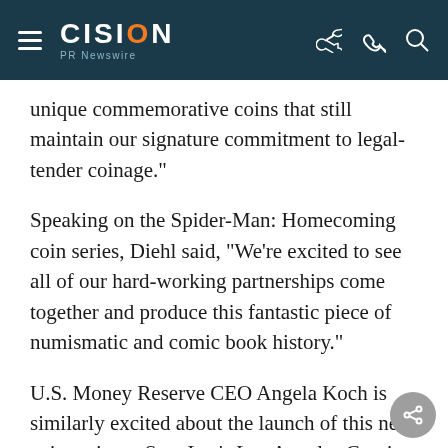CISION PR Newswire
unique commemorative coins that still maintain our signature commitment to legal-tender coinage."
Speaking on the Spider-Man: Homecoming coin series, Diehl said, "We're excited to see all of our hard-working partnerships come together and produce this fantastic piece of numismatic and comic book history."
U.S. Money Reserve CEO Angela Koch is similarly excited about the launch of this new coin series at Stan Lee's Los Angeles Comic Con. The interactive booth display, presented by Legendary Precious